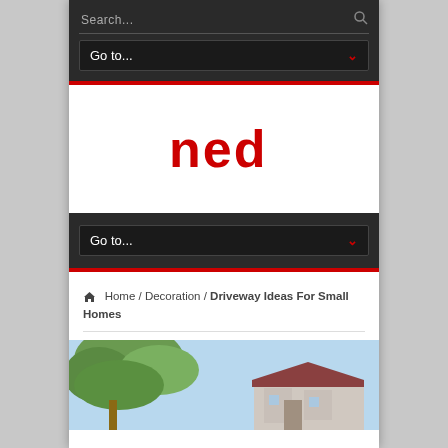Search... [search icon]
Go to...
[Figure (logo): Red lowercase 'ned' logo in red color on white background]
Go to...
Home / Decoration / Driveway Ideas For Small Homes
[Figure (photo): Partial photo showing tree branches and a small home exterior with blue sky]